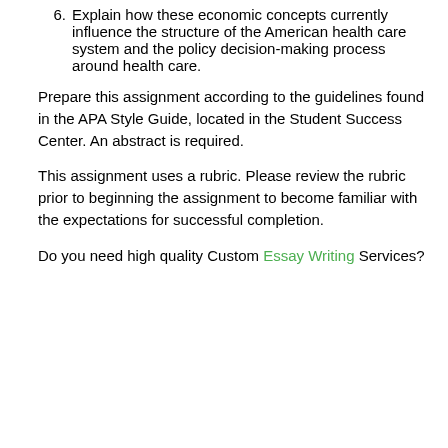6. Explain how these economic concepts currently influence the structure of the American health care system and the policy decision-making process around health care.
Prepare this assignment according to the guidelines found in the APA Style Guide, located in the Student Success Center. An abstract is required.
This assignment uses a rubric. Please review the rubric prior to beginning the assignment to become familiar with the expectations for successful completion.
Do you need high quality Custom Essay Writing Services?